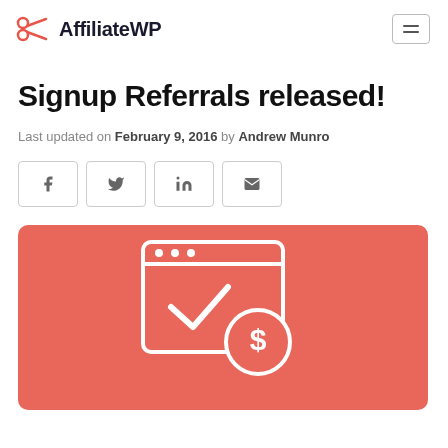AffiliateWP
Signup Referrals released!
Last updated on February 9, 2016 by Andrew Munro
[Figure (illustration): Social share buttons: Facebook, Twitter, LinkedIn, Email]
[Figure (illustration): Red/coral background hero image with a white browser window icon containing a checkmark and a dollar sign coin icon]